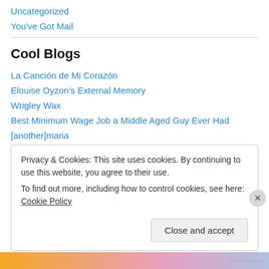Uncategorized
You've Got Mail
Cool Blogs
La Canción de Mi Corazón
Elouise Oyzon's External Memory
Wrigley Wax
Best Minimum Wage Job a Middle Aged Guy Ever Had
[another]maria
Privacy & Cookies: This site uses cookies. By continuing to use this website, you agree to their use. To find out more, including how to control cookies, see here: Cookie Policy
Close and accept